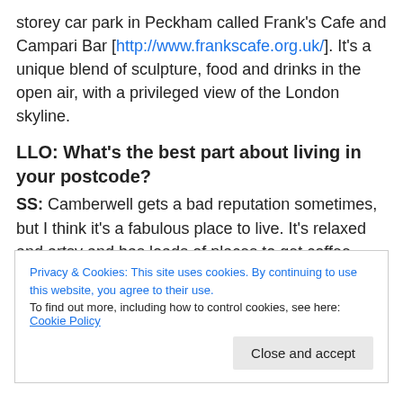storey car park in Peckham called Frank's Cafe and Campari Bar [http://www.frankscafe.org.uk/]. It's a unique blend of sculpture, food and drinks in the open air, with a privileged view of the London skyline.
LLO: What's the best part about living in your postcode?
SS: Camberwell gets a bad reputation sometimes, but I think it's a fabulous place to live. It's relaxed and artsy and has loads of places to get coffee, food, free wi-fi and evening drinks. It's such a creative area, there's something
Privacy & Cookies: This site uses cookies. By continuing to use this website, you agree to their use. To find out more, including how to control cookies, see here: Cookie Policy